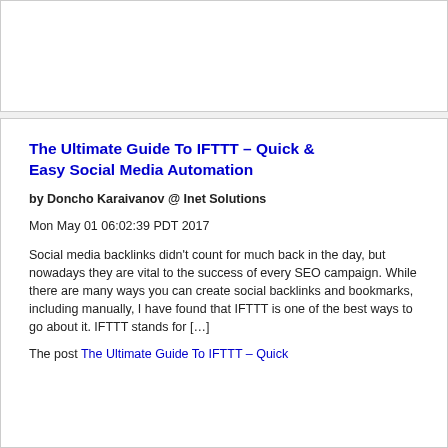The Ultimate Guide To IFTTT – Quick & Easy Social Media Automation
by Doncho Karaivanov @ Inet Solutions
Mon May 01 06:02:39 PDT 2017
Social media backlinks didn't count for much back in the day, but nowadays they are vital to the success of every SEO campaign. While there are many ways you can create social backlinks and bookmarks, including manually, I have found that IFTTT is one of the best ways to go about it. IFTTT stands for […]
The post The Ultimate Guide To IFTTT – Quick…